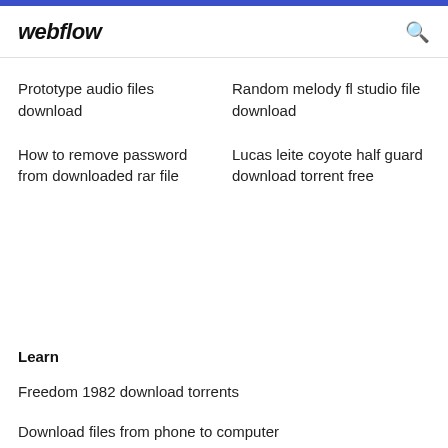webflow
Prototype audio files download
Random melody fl studio file download
How to remove password from downloaded rar file
Lucas leite coyote half guard download torrent free
Learn
Freedom 1982 download torrents
Download files from phone to computer